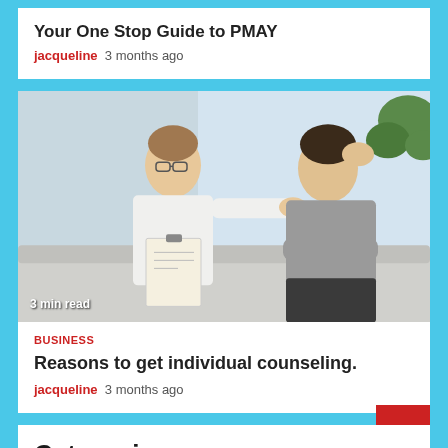Your One Stop Guide to PMAY
jacqueline  3 months ago
[Figure (photo): A therapist or counselor placing a hand on the shoulder of a distressed man sitting with his hand on his head during a counseling session. Badge reads '3 min read'.]
BUSINESS
Reasons to get individual counseling.
jacqueline  3 months ago
Categories